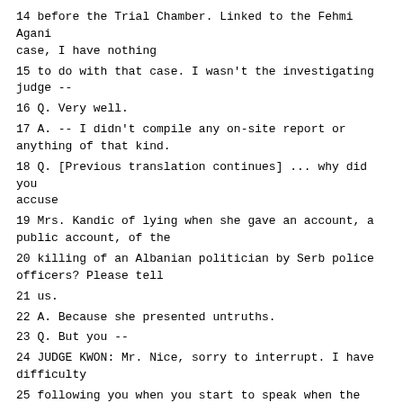14 before the Trial Chamber. Linked to the Fehmi Agani case, I have nothing
15 to do with that case. I wasn't the investigating judge --
16 Q. Very well.
17 A. -- I didn't compile any on-site report or anything of that kind.
18 Q. [Previous translation continues] ... why did you accuse
19 Mrs. Kandic of lying when she gave an account, a public account, of the
20 killing of an Albanian politician by Serb police officers? Please tell
21 us.
22 A. Because she presented untruths.
23 Q. But you --
24 JUDGE KWON: Mr. Nice, sorry to interrupt. I have difficulty
25 following you when you start to speak when the translation continues.